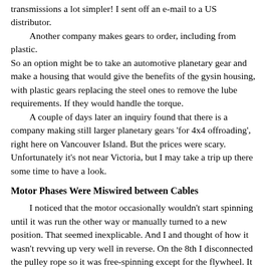transmissions a lot simpler! I sent off an e-mail to a US distributor. Another company makes gears to order, including from plastic. So an option might be to take an automotive planetary gear and make a housing that would give the benefits of the gysin housing, with plastic gears replacing the steel ones to remove the lube requirements. If they would handle the torque. A couple of days later an inquiry found that there is a company making still larger planetary gears 'for 4x4 offroading', right here on Vancouver Island. But the prices were scary. Unfortunately it's not near Victoria, but I may take a trip up there some time to have a look.
Motor Phases Were Miswired between Cables
I noticed that the motor occasionally wouldn't start spinning until it was run the other way or manually turned to a new position. That seemed inexplicable. And I and thought of how it wasn't revving up very well in reverse. On the 8th I disconnected the pulley rope so it was free-spinning except for the flywheel. It still worked poorly in reverse. Somehow, I must still - or again - have the drive phases wrong! I hooked up a DC current clamp meter and started swapping drive wires at the plug. Sure enough, they were wrong. When I had them right, the motor started and spun freely in both directions and the motor currents went way down into the lower 10s of amps once up to speed. Instead of seeing 150 or more amps